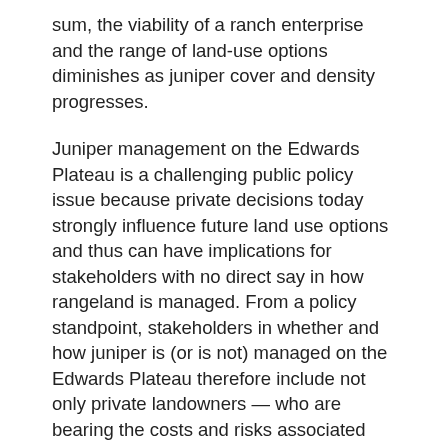sum, the viability of a ranch enterprise and the range of land-use options diminishes as juniper cover and density progresses.
Juniper management on the Edwards Plateau is a challenging public policy issue because private decisions today strongly influence future land use options and thus can have implications for stakeholders with no direct say in how rangeland is managed. From a policy standpoint, stakeholders in whether and how juniper is (or is not) managed on the Edwards Plateau therefore include not only private landowners — who are bearing the costs and risks associated with today's management investments — but also those with an interest in wildlife habitat conservation, downstream water users, and future generations. Over 95% of the rangeland on the Edwards Plateau is privately owned, and private ownership of land carries the economic advantage of incentive-compatibility: private landowners are motivated to make the best possible management choices on the land to the extent they feel secure that they (or their heirs) will